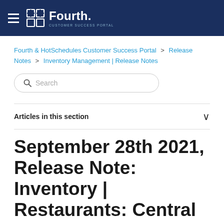Fourth Customer Success Portal
Fourth & HotSchedules Customer Success Portal > Release Notes > Inventory Management | Release Notes
Search
Articles in this section
September 28th 2021, Release Note: Inventory | Restaurants: Central